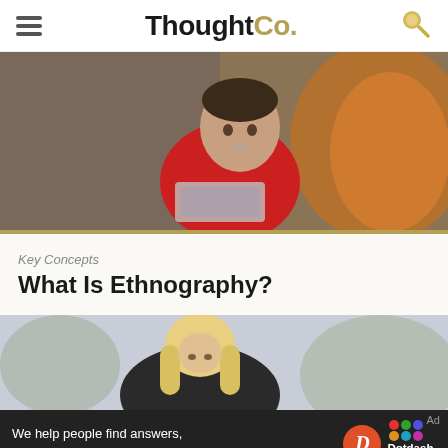ThoughtCo.
[Figure (photo): Young boy in a red hoodie holding something, with a warm light in the background]
[Figure (photo): Young woman with long blonde hair looking down, outdoors]
Key Concepts
What Is Ethnography?
We help people find answers, solve problems and get inspired.
[Figure (logo): Dotdash Meredith logo with colorful dots and orange D circle]